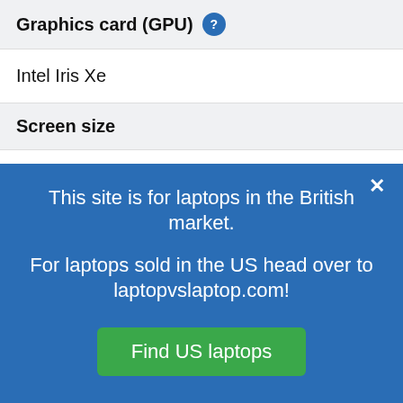Graphics card (GPU)
Intel Iris Xe
Screen size
13.3"
Screen resolution
This site is for laptops in the British market.

For laptops sold in the US head over to laptopvslaptop.com!
Find US laptops